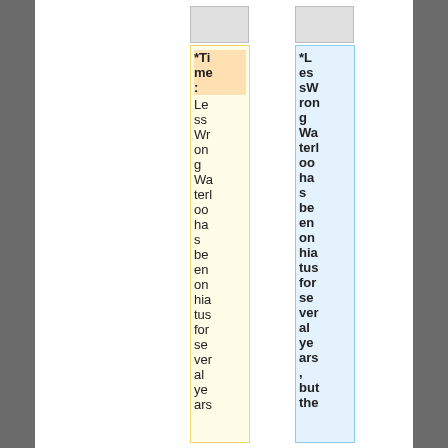| *Time: | *LessWrong Waterloo has been on hiatus for several years, but the |
| --- | --- |
| Less Wrong Waterloo has been on hiatus for several years, al ye ars | *LessWrong Waterloo has been on hiatus for several years, but the |